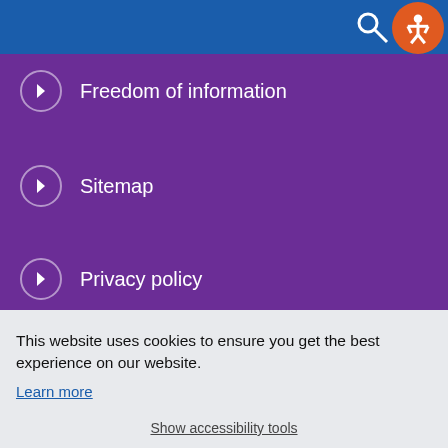Freedom of information
Sitemap
Privacy policy
Equality and diversity
This website uses cookies to ensure you get the best experience on our website.
Learn more
Got it!
Show accessibility tools
Tel: 01322